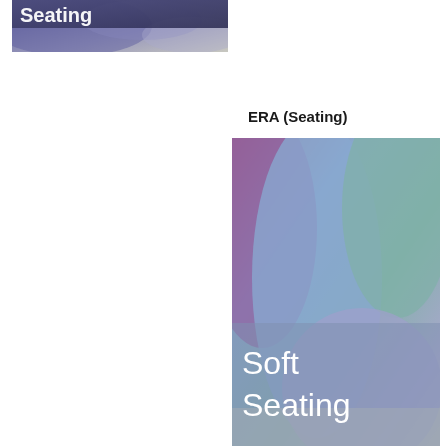[Figure (photo): Partial image at top-left showing rolled fabric swatches in blue/purple tones with white text 'Seating' overlaid at top]
ERA (Seating)
[Figure (photo): Photo of rolled fabric swatches in purple, light blue, teal/green, and lavender tones with white text 'Soft Seating' overlaid at bottom-left]